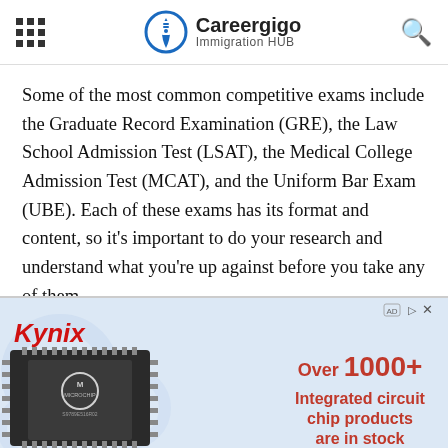Careergigo Immigration HUB
Some of the most common competitive exams include the Graduate Record Examination (GRE), the Law School Admission Test (LSAT), the Medical College Admission Test (MCAT), and the Uniform Bar Exam (UBE). Each of these exams has its format and content, so it's important to do your research and understand what you're up against before you take any of them.
[Figure (screenshot): Kynix advertisement banner with a Microchip branded integrated circuit chip image on the left and text 'Over 1000+ Integrated circuit chip products are in stock' on the right in red on a light blue background.]